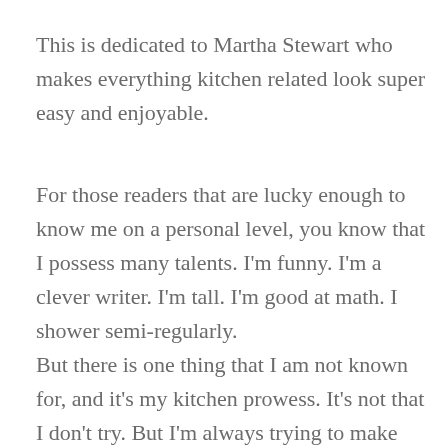This is dedicated to Martha Stewart who makes everything kitchen related look super easy and enjoyable.
For those readers that are lucky enough to know me on a personal level, you know that I possess many talents.  I'm funny.  I'm a clever writer.  I'm tall.  I'm good at math.  I shower semi-regularly.
But there is one thing that I am not known for, and it's my kitchen prowess.  It's not that I don't try. But I'm always trying to make things healthy and that